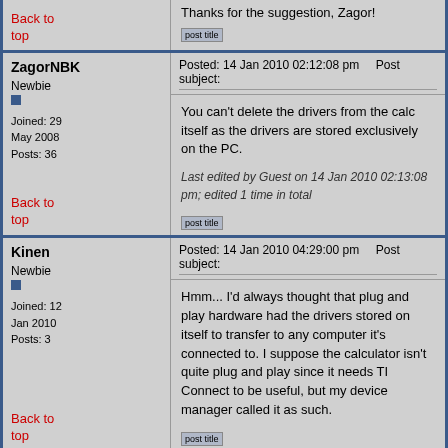Thanks for the suggestion, Zagor!
Back to top
ZagorNBK
Posted: 14 Jan 2010 02:12:08 pm    Post subject:
You can't delete the drivers from the calc itself as the drivers are stored exclusively on the PC.
Last edited by Guest on 14 Jan 2010 02:13:08 pm; edited 1 time in total
Newbie
Joined: 29 May 2008
Posts: 36
Back to top
Kinen
Posted: 14 Jan 2010 04:29:00 pm    Post subject:
Hmm... I'd always thought that plug and play hardware had the drivers stored on itself to transfer to any computer it's connected to. I suppose the calculator isn't quite plug and play since it needs TI Connect to be useful, but my device manager called it as such.
Newbie
Joined: 12 Jan 2010
Posts: 3
Back to top
darkstone
Posted: 14 Jan 2010 04:49:07 pm    Post subject: